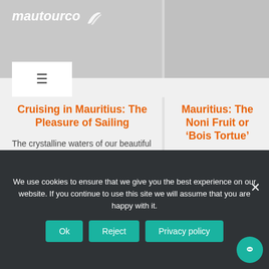[Figure (logo): Mautourco logo with stylized wave icon in white on grey background]
Cruising in Mauritius: The Pleasure of Sailing
The crystalline waters of our beautiful Mauritius allow us to enjoy beautiful cruises at sea aboard catamarans,
Mauritius: The Noni Fruit or ‘Bois Tortue’
Along the beach in Albion, the one that leads to the lighthouse and where rocks and pebbles
We use cookies to ensure that we give you the best experience on our website. If you continue to use this site we will assume that you are happy with it.